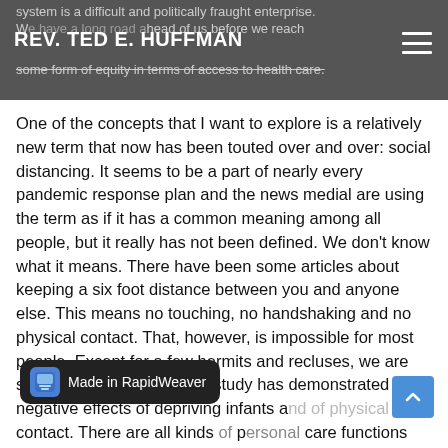system is a difficult and politically fraught enterprise. We have a long road ahead of us before we reach some form of equity in terms of access to health care. REV. TED E. HUFFMAN
One of the concepts that I want to explore is a relatively new term that now has been touted over and over: social distancing. It seems to be a part of nearly every pandemic response plan and the news medial are using the term as if it has a common meaning among all people, but it really has not been defined. We don't know what it means. There have been some articles about keeping a six foot distance between you and anyone else. This means no touching, no handshaking and no physical contact. That, however, is impossible for most people. Except for a few hermits and recluses, we are social animals. Study after study has demonstrated the negative effects of depriving infants a... contact. There are all kinds of p... care functions that require touch. We play many games that bring us into close